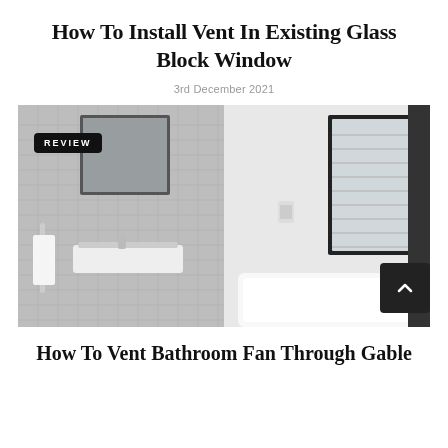How To Install Vent In Existing Glass Block Window
3rd December 2021
[Figure (photo): Bathroom interior showing a mosaic tile wall with wall-mounted sink and mirror on the left, and a modern bathtub beside a black-framed window with blinds on the right. A 'REVIEW' badge overlay is in the top-left corner. A dark scroll-up button is at the bottom-right.]
How To Vent Bathroom Fan Through Gable